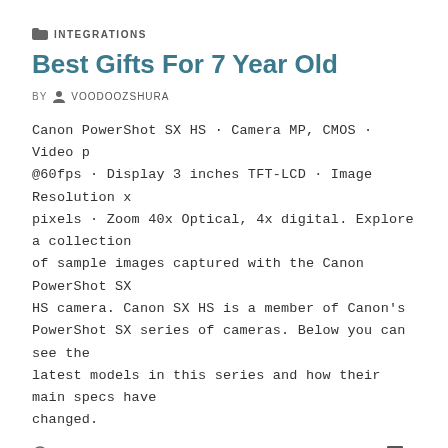INTEGRATIONS
Best Gifts For 7 Year Old
BY VOODOOZSHURA
Canon PowerShot SX HS · Camera MP, CMOS · Video p @60fps · Display 3 inches TFT-LCD · Image Resolution x pixels · Zoom 40x Optical, 4x digital. Explore a collection of sample images captured with the Canon PowerShot SX HS camera. Canon SX HS is a member of Canon's PowerShot SX series of cameras. Below you can see the latest models in this series and how their main specs have changed.
26.04.2020   4
BLOG